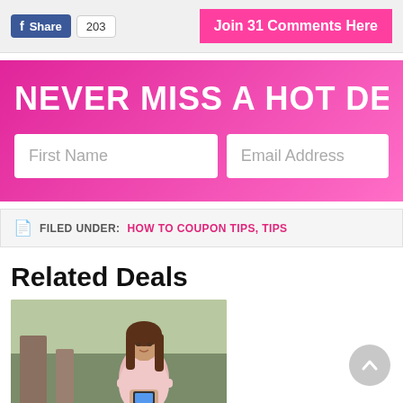[Figure (screenshot): Facebook Share button with count 203 and Join 31 Comments Here pink button]
[Figure (infographic): Newsletter signup banner: NEVER MISS A HOT DEA... with First Name and Email Address fields]
FILED UNDER: HOW TO COUPON TIPS, TIPS
Related Deals
[Figure (photo): Woman in pink sweater looking at phone, seated outdoors]